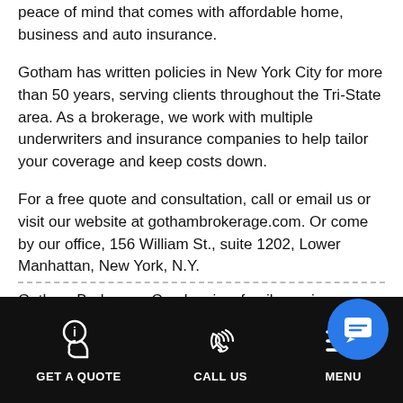peace of mind that comes with affordable home, business and auto insurance.
Gotham has written policies in New York City for more than 50 years, serving clients throughout the Tri-State area. As a brokerage, we work with multiple underwriters and insurance companies to help tailor your coverage and keep costs down.
For a free quote and consultation, call or email us or visit our website at gothambrokerage.com. Or come by our office, 156 William St., suite 1202, Lower Manhattan, New York, N.Y.
Gotham Brokerage Co., Inc. is a family run insurance
GET A QUOTE  CALL US  MENU